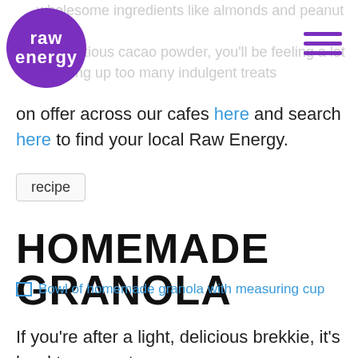wholesome ingredients like almonds and peanut butter as nutritious cacao powder, you'll be feeling a lot gobbling up too many indulgent treats
[Figure (logo): Raw Energy logo — purple circle with white text reading 'raw energy' in lowercase bold letters]
Want more delicious goodies? Check out what we have on offer across our cafes here and search here to find your local Raw Energy.
recipe
HOMEMADE GRANOLA
[Figure (photo): Bowl of homemade granola with measuring cup]
If you're after a light, delicious brekkie, it's hard to go past